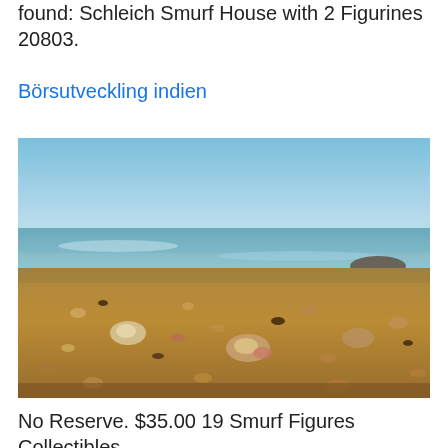found: Schleich Smurf House with 2 Figurines 20803.
Börsutveckling indien
[Figure (photo): Close-up photograph of a rocky/shell-covered beach shoreline with blurred ocean and sky in background, warm golden-brown shells and pebbles in foreground.]
No Reserve. $35.00 19 Smurf Figures Collectibles